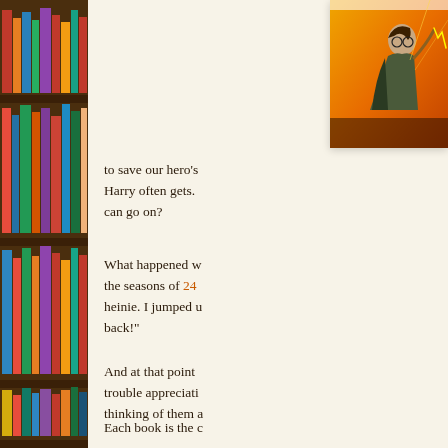[Figure (photo): Bookshelf filled with colorful books on wooden shelves, left side of page]
[Figure (illustration): Harry Potter book cover showing a young wizard figure with dramatic orange/golden background]
to save our hero's Harry often gets. can go on?
What happened w the seasons of 24 heinie. I jumped u back!"
And at that point trouble appreciati thinking of them a
Each book is the c